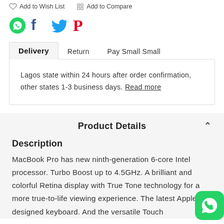Add to Wish List   Add to Compare
[Figure (logo): Social share icons: WhatsApp (green), Facebook (blue), Twitter (blue), Pinterest (red)]
Delivery   Return   Pay Small Small
Lagos state within 24 hours after order confirmation, other states 1-3 business days. Read more
Product Details
Description
MacBook Pro has new ninth-generation 6-core Intel processor. Turbo Boost up to 4.5GHz. A brilliant and colorful Retina display with True Tone technology for a more true-to-life viewing experience. The latest Apple-designed keyboard. And the versatile Touch